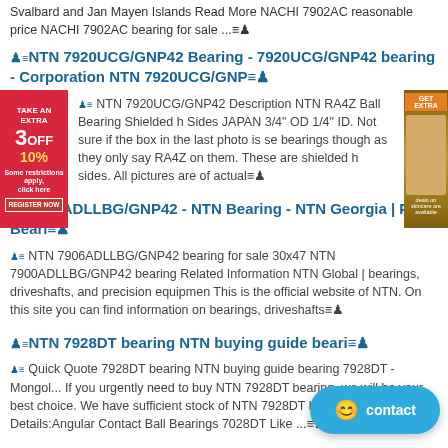Svalbard and Jan Mayen Islands Read More NACHI 7902AC reasonable price NACHI 7902AC bearing for sale ...
NTN 7920UCG/GNP42 Bearing - 7920UCG/GNP42 bearing - Corporation NTN 7920UCG/GNP
NTN 7920UCG/GNP42 Description NTN RA4Z Ball Bearing Shielded h Sides JAPAN 3/4" OD 1/4" ID. Not sure if the box in the last photo is se bearings though as they only say RA4Z on them. These are shielded h sides. All pictures are of actual
7900ADLLBG/GNP42 - NTN Bearing - NTN Georgia | PEN Beari
NTN 7906ADLLBG/GNP42 bearing for sale 30x47 NTN 7900ADLLBG/GNP42 bearing Related Information NTN Global | bearings, driveshafts, and precision equipmen This is the official website of NTN. On this site you can find information on bearings, driveshafts
NTN 7928DT bearing NTN buying guide beari
Quick Quote 7928DT bearing NTN buying guide bearing 7928DT - Mongol... If you urgently need to buy NTN 7928DT bearing, we will be your best choice. We have sufficient stock of NTN 7928DT bearing now. kg Details:Angular Contact Ball Bearings 7028DT Like ...
NTN 7924UCG/GNP42 bearing - 7924UCG/GNP42 NTN -